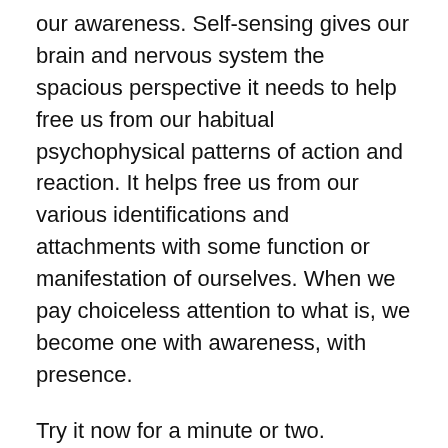our awareness. Self-sensing gives our brain and nervous system the spacious perspective it needs to help free us from our habitual psychophysical patterns of action and reaction. It helps free us from our various identifications and attachments with some function or manifestation of ourselves. When we pay choiceless attention to what is, we become one with awareness, with presence.
Try it now for a minute or two. Whatever position you are in, sense your entire body, including your breathing. Become innocently intimate with all the sensations that are occurring, opening as much as possible to them. Also include the shapes and energies of the thoughts and feelings that are taking place—negative or positive, it doesn't matter. Don't attempt to change anything. Simply get as close as possible to everything that is happening. Notice how allowing yourself to get closer to what is